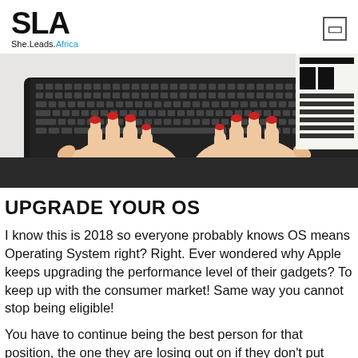SLA She.Leads.Africa
[Figure (photo): Overhead view of hands with red nail polish typing on a black keyboard, with a newspaper partially visible in the upper right corner, on a white desk surface.]
UPGRADE YOUR OS
I know this is 2018 so everyone probably knows OS means Operating System right? Right. Ever wondered why Apple keeps upgrading the performance level of their gadgets? To keep up with the consumer market! Same way you cannot stop being eligible!
You have to continue being the best person for that position, the one they are losing out on if they don't put